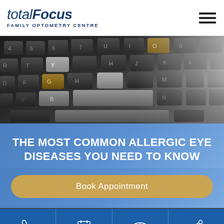[Figure (logo): totalFocus Family Optometry Centre logo — 'total' in light italic blue, 'Focus' in bold italic blue, subtitle 'FAMILY OPTOMETRY CENTRE' in spaced uppercase blue letters]
[Figure (photo): Close-up photo of a laptop keyboard with dark and golden/brown highlighted keys]
THE MOST COMMON ALLERGIC EYE DISEASES YOU NEED TO KNOW
Book Appointment
[Figure (infographic): Bottom navigation bar with four icons: phone, calendar, eye, and share symbols on dark blue background]